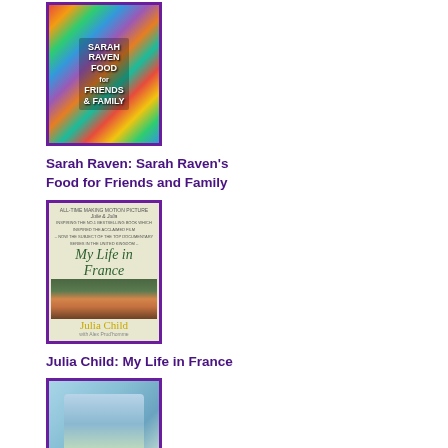[Figure (illustration): Book cover of 'Sarah Raven: Food for Friends and Family' with a colorful mosaic/grid pattern cover, surrounded by a purple border]
Sarah Raven: Sarah Raven's Food for Friends and Family
[Figure (illustration): Book cover of 'My Life in France' by Julia Child, showing the title in green italic script over a photo of Julia Child at a market, surrounded by a purple border]
Julia Child: My Life in France
[Figure (illustration): Partial book cover partially visible at bottom, with a purple border, showing food/cooking imagery]